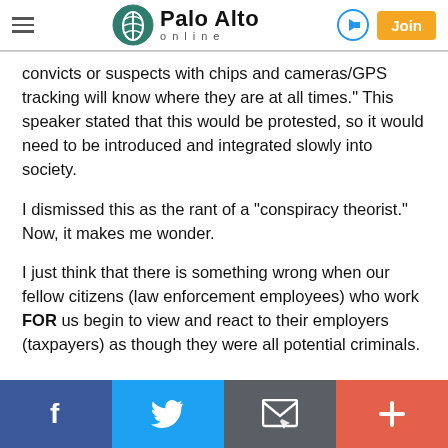Palo Alto online
convicts or suspects with chips and cameras/GPS tracking will know where they are at all times." This speaker stated that this would be protested, so it would need to be introduced and integrated slowly into society.
I dismissed this as the rant of a "conspiracy theorist." Now, it makes me wonder.
I just think that there is something wrong when our fellow citizens (law enforcement employees) who work FOR us begin to view and react to their employers (taxpayers) as though they were all potential criminals.
Facebook | Twitter | Email | More